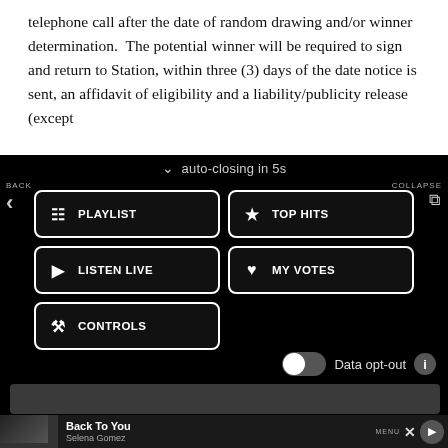telephone call after the date of random drawing and/or winner determination.  The potential winner will be required to sign and return to Station, within three (3) days of the date notice is sent, an affidavit of eligibility and a liability/publicity release (except
auto-closing in 5s
BACK
COLLAPSE
[Figure (screenshot): Navigation menu with buttons: PLAYLIST, TOP HITS, LISTEN LIVE, MY VOTES, CONTROLS]
Data opt-out
[Figure (screenshot): Now playing bar showing Back To You by Selena Gomez with MENU, close, and play controls]